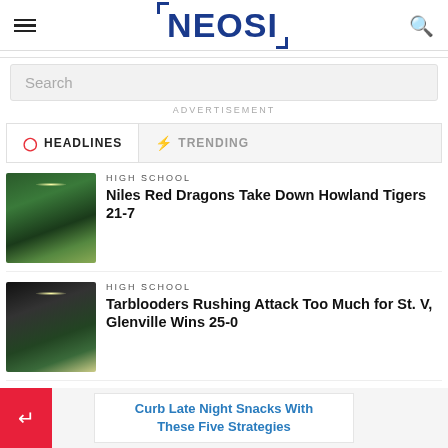NEOSI
Search
ADVERTISEMENT
HEADLINES   TRENDING
HIGH SCHOOL
Niles Red Dragons Take Down Howland Tigers 21-7
HIGH SCHOOL
Tarblooders Rushing Attack Too Much for St. V, Glenville Wins 25-0
Curb Late Night Snacks With These Five Strategies